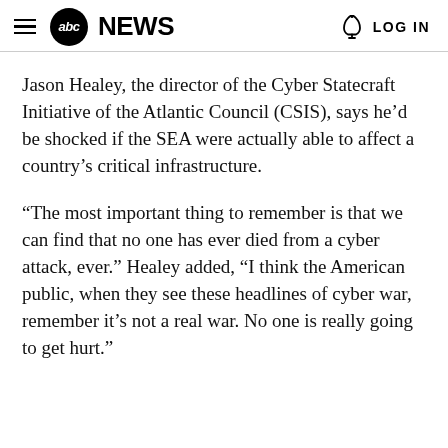abc NEWS  LOG IN
Jason Healey, the director of the Cyber Statecraft Initiative of the Atlantic Council (CSIS), says he’d be shocked if the SEA were actually able to affect a country’s critical infrastructure.
“The most important thing to remember is that we can find that no one has ever died from a cyber attack, ever.” Healey added, “I think the American public, when they see these headlines of cyber war, remember it’s not a real war. No one is really going to get hurt.”